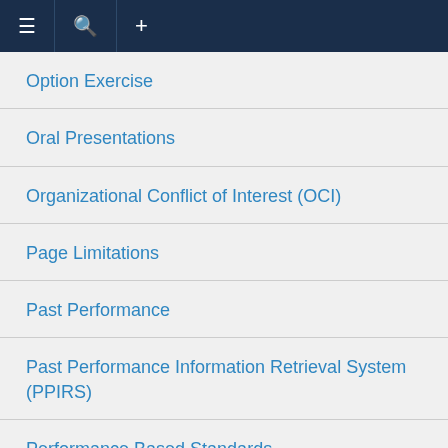Navigation bar with menu, search, and add icons
Option Exercise
Oral Presentations
Organizational Conflict of Interest (OCI)
Page Limitations
Past Performance
Past Performance Information Retrieval System (PPIRS)
Performance Based Standards
Permits and Responsibilities